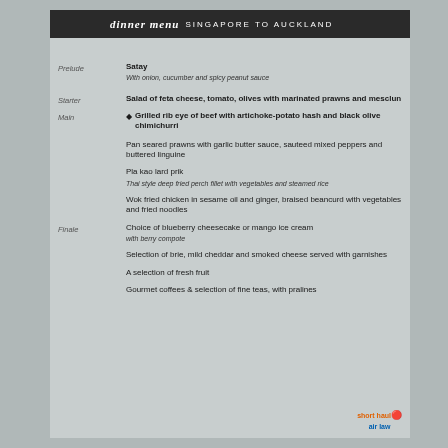dinner menu SINGAPORE TO AUCKLAND
Prelude
Satay
With onion, cucumber and spicy peanut sauce
Starter
Salad of feta cheese, tomato, olives with marinated prawns and mesclun
Main
Grilled rib eye of beef with artichoke-potato hash and black olive chimichurri
Pan seared prawns with garlic butter sauce, sauteed mixed peppers and buttered linguine
Pla kao lard prik
Thai style deep fried perch fillet with vegetables and steamed rice
Wok fried chicken in sesame oil and ginger, braised beancurd with vegetables and fried noodles
Finale
Choice of blueberry cheesecake or mango ice cream
with berry compote
Selection of brie, mild cheddar and smoked cheese served with garnishes
A selection of fresh fruit
Gourmet coffees & selection of fine teas, with pralines